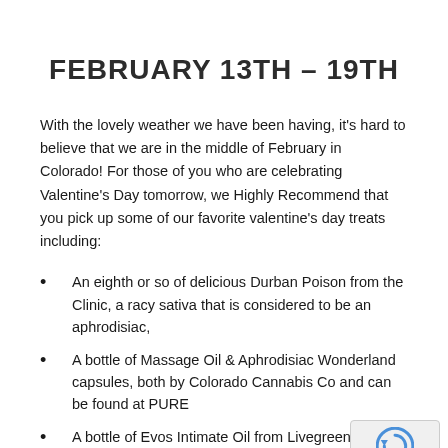FEBRUARY 13TH – 19TH
With the lovely weather we have been having, it's hard to believe that we are in the middle of February in Colorado! For those of you who are celebrating Valentine's Day tomorrow, we Highly Recommend that you pick up some of our favorite valentine's day treats including:
An eighth or so of delicious Durban Poison from the Clinic, a racy sativa that is considered to be an aphrodisiac,
A bottle of Massage Oil & Aphrodisiac Wonderland capsules, both by Colorado Cannabis Co and can be found at PURE
A bottle of Evos Intimate Oil from Livegreen or Herbal C… spice up the evening
Or just swing by DANK and pick up their V-Day gift box t… will be sure to spice up your holiday